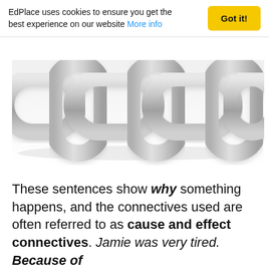EdPlace uses cookies to ensure you get the best experience on our website More info
[Figure (photo): Close-up photograph of a silver metal chain with interlocking oval links on a white background]
These sentences show why something happens, and the connectives used are often referred to as cause and effect connectives. Jamie was very tired. Because of